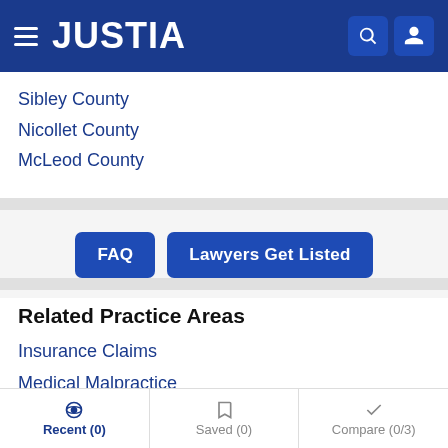JUSTIA
Sibley County
Nicollet County
McLeod County
FAQ | Lawyers Get Listed
Related Practice Areas
Insurance Claims
Medical Malpractice
Products Liability
Recent (0) | Saved (0) | Compare (0/3)